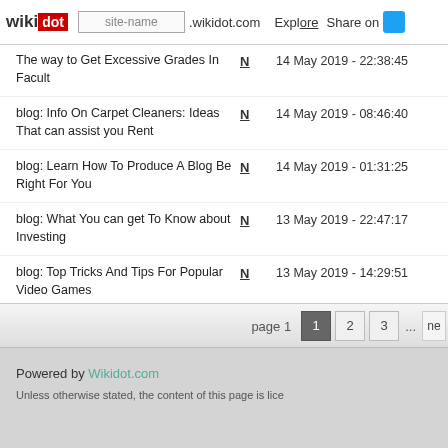wikidot | site-name .wikidot.com | Explore | Share on
The way to Get Excessive Grades In Facult | N | 14 May 2019 - 22:38:45 | (new
blog: Info On Carpet Cleaners: Ideas That can assist you Rent | N | 14 May 2019 - 08:46:40 | (new
blog: Learn How To Produce A Blog Be Right For You | N | 14 May 2019 - 01:31:25 | (new
blog: What You can get To Know about Investing | N | 13 May 2019 - 22:47:17 | (new
blog: Top Tricks And Tips For Popular Video Games | N | 13 May 2019 - 14:29:51 | (new
blog: Straightforward Magnificence Ideas That It's good to Kn | N | 13 May 2019 - 12:46:59 | (new
page 1  1  2  3  ...  ne
Powered by Wikidot.com
Unless otherwise stated, the content of this page is lice